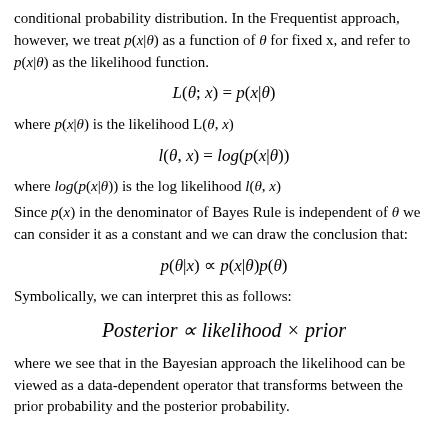conditional probability distribution. In the Frequentist approach, however, we treat p(x|θ) as a function of θ for fixed x, and refer to p(x|θ) as the likelihood function.
where p(x|θ) is the likelihood L(θ, x)
where log(p(x|θ)) is the log likelihood l(θ, x)
Since p(x) in the denominator of Bayes Rule is independent of θ we can consider it as a constant and we can draw the conclusion that:
Symbolically, we can interpret this as follows:
where we see that in the Bayesian approach the likelihood can be viewed as a data-dependent operator that transforms between the prior probability and the posterior probability.